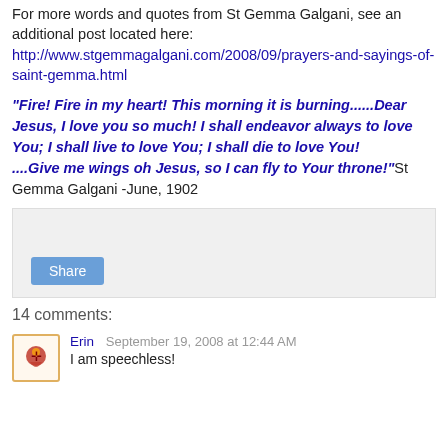For more words and quotes from St Gemma Galgani, see an additional post located here: http://www.stgemmagalgani.com/2008/09/prayers-and-sayings-of-saint-gemma.html
"Fire! Fire in my heart! This morning it is burning......Dear Jesus, I love you so much! I shall endeavor always to love You; I shall live to love You; I shall die to love You! ....Give me wings oh Jesus, so I can fly to Your throne!"St Gemma Galgani -June, 1902
[Figure (other): Share button box with gray background]
14 comments:
Erin September 19, 2008 at 12:44 AM
I am speechless!